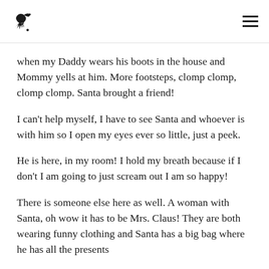[Raven logo] [Hamburger menu]
when my Daddy wears his boots in the house and Mommy yells at him. More footsteps, clomp clomp, clomp clomp. Santa brought a friend!
I can't help myself, I have to see Santa and whoever is with him so I open my eyes ever so little, just a peek.
He is here, in my room! I hold my breath because if I don't I am going to just scream out I am so happy!
There is someone else here as well. A woman with Santa, oh wow it has to be Mrs. Claus! They are both wearing funny clothing and Santa has a big bag where he has all the presents